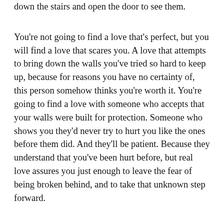down the stairs and open the door to see them.
You're not going to find a love that's perfect, but you will find a love that scares you. A love that attempts to bring down the walls you've tried so hard to keep up, because for reasons you have no certainty of, this person somehow thinks you're worth it. You're going to find a love with someone who accepts that your walls were built for protection. Someone who shows you they'd never try to hurt you like the ones before them did. And they'll be patient. Because they understand that you've been hurt before, but real love assures you just enough to leave the fear of being broken behind, and to take that unknown step forward.
You're not going to find a love that's perfect, but you will find a love that changes you. Not who you are, but the way you are. The way you see things, and the way you react to them. You look at life a little differently because they open your mind to other worlds, to worlds outside of